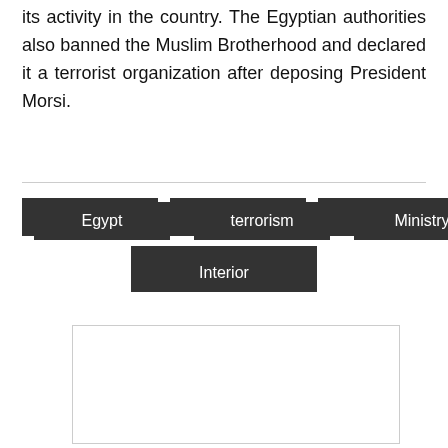its activity in the country. The Egyptian authorities also banned the Muslim Brotherhood and declared it a terrorist organization after deposing President Morsi.
[Figure (other): Tag/label icon (red price tag with white lines) followed by four dark tag buttons: Egypt, terrorism, Ministry, Hasm. A second row centers one button: Interior.]
[Figure (photo): Empty white rectangle with light gray border, likely a placeholder for an image.]